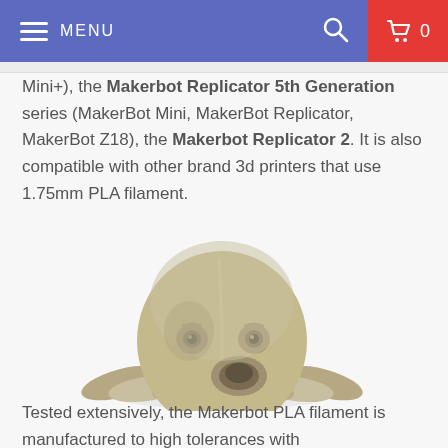MENU | 0
Mini+), the Makerbot Replicator 5th Generation series (MakerBot Mini, MakerBot Replicator, MakerBot Z18), the Makerbot Replicator 2. It is also compatible with other brand 3d printers that use 1.75mm PLA filament.
[Figure (photo): 3D printed octopus figurine in tan/khaki PLA filament, sitting on a white surface with a slight reflection.]
Tested extensively, the Makerbot PLA filament is manufactured to high tolerances with